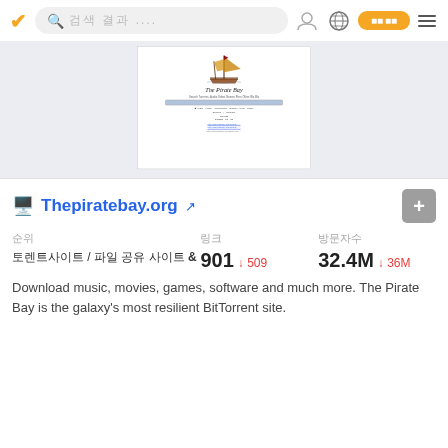검색 결과 ....
[Figure (screenshot): Screenshot of The Pirate Bay website homepage showing the pirate ship logo and site content]
Thepiratebay.org
| 순위 | 링크 | 방문자수 |
| --- | --- | --- |
| 토렌트사이트 / 파일 공유 사이트 & | 901 ↓509 | 32.4M ↓36M |
Download music, movies, games, software and much more. The Pirate Bay is the galaxy's most resilient BitTorrent site.